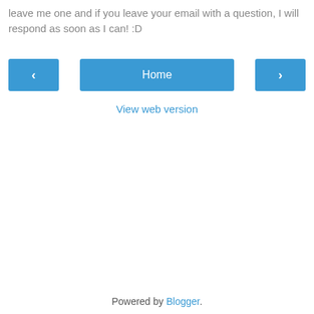leave me one and if you leave your email with a question, I will respond as soon as I can! :D
[Figure (other): Navigation buttons: left arrow button, Home center button, right arrow button]
View web version
Powered by Blogger.